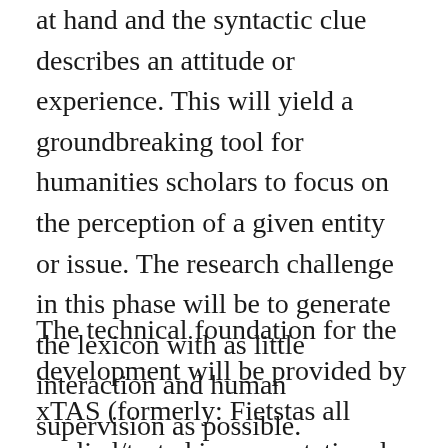at hand and the syntactic clue describes an attitude or experience. This will yield a groundbreaking tool for humanities scholars to focus on the perception of a given entity or issue. The research challenge in this phase will be to generate the lexicon with as little interaction and human supervision as possible.
The technical foundation for the development will be provided by xTAS (formerly: Fietstas all applied/tested in computational humanities projects such as Political Mashup, WAHSP,